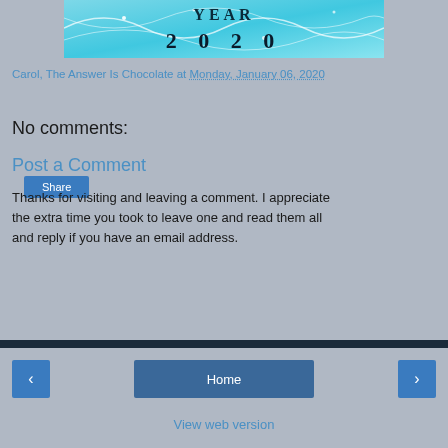[Figure (illustration): Decorative blue banner image with wavy lines and the text 'YEAR 2020' in bold black letters on a teal/aqua background]
Carol, The Answer Is Chocolate at Monday, January 06, 2020
Share
No comments:
Post a Comment
Thanks for visiting and leaving a comment. I appreciate the extra time you took to leave one and read them all and reply if you have an email address.
‹  Home  ›  View web version